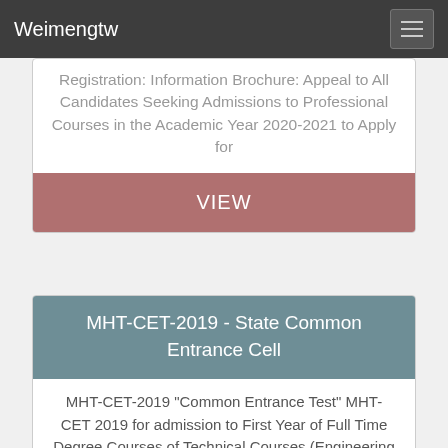Weimengtw
Registration: Information Brochure: Appeal to All Candidates Seeking Admissions to Professional Courses in the Academic Year 2020-2021 to Apply for
VIEW
MHT-CET-2019 - State Common Entrance Cell
MHT-CET-2019 "Common Entrance Test" MHT-CET 2019 for admission to First Year of Full Time Degree Courses of Technical Courses (Engineering and Technology,